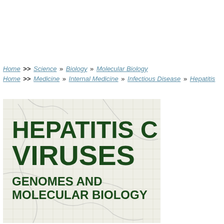Home >> Science » Biology » Molecular Biology
Home >> Medicine » Internal Medicine » Infectious Disease » Hepatitis
[Figure (illustration): Book cover for 'Hepatitis C Viruses: Genomes and Molecular Biology'. Dark green bold title text on a light textured/grid background with faint crack-like lines.]